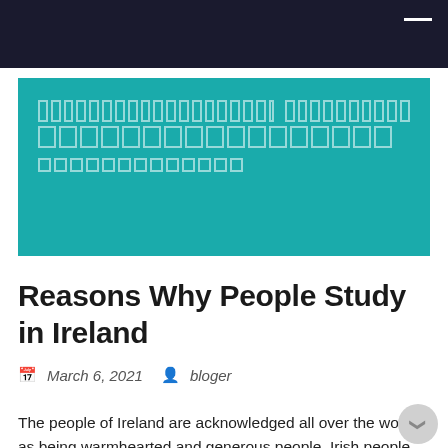[Figure (other): Teal banner with redacted/placeholder Thai or non-Latin script title text and subtitle, shown as outlined rectangular blocks on a teal background]
Reasons Why People Study in Ireland
March 6, 2021   bloger
The people of Ireland are acknowledged all over the world as being warmhearted and generous people. Irish people are associated with the outdoorsy spirit and strive vigorously to be